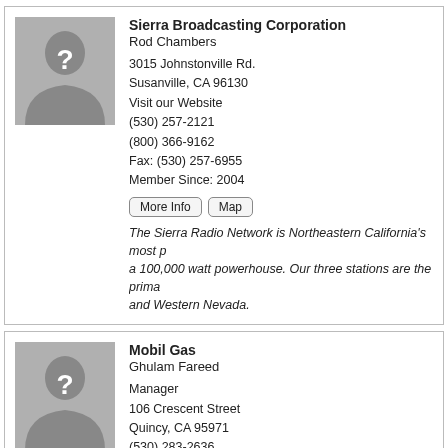Sierra Broadcasting Corporation
Rod Chambers
3015 Johnstonville Rd.
Susanville, CA 96130
Visit our Website
(530) 257-2121
(800) 366-9162
Fax: (530) 257-6955
Member Since: 2004
More Info | Map
The Sierra Radio Network is Northeastern California's most p... a 100,000 watt powerhouse. Our three stations are the prima... and Western Nevada.
Mobil Gas
Ghulam Fareed
Manager
106 Crescent Street
Quincy, CA 95971
(530) 283-2636
Member Since: 2004
Convenience Store, Gasoline, Coffee